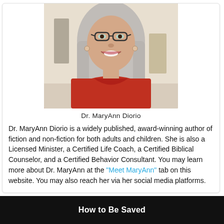[Figure (photo): Headshot photo of Dr. MaryAnn Diorio, a woman with long gray hair and glasses, wearing a red top, smiling.]
Dr. MaryAnn Diorio
Dr. MaryAnn Diorio is a widely published, award-winning author of fiction and non-fiction for both adults and children. She is also a Licensed Minister, a Certified Life Coach, a Certified Biblical Counselor, and a Certified Behavior Consultant. You may learn more about Dr. MaryAnn at the "Meet MaryAnn" tab on this website. You may also reach her via her social media platforms.
How to Be Saved